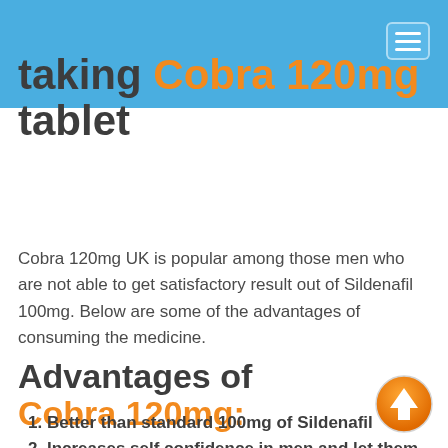taking Cobra 120mg tablet
Cobra 120mg UK is popular among those men who are not able to get satisfactory result out of Sildenafil 100mg. Below are some of the advantages of consuming the medicine.
Advantages of Cobra 120mg:
Better than standard 100mg of Sildenafil
Increases self confidence in men and let them have a great time in bed